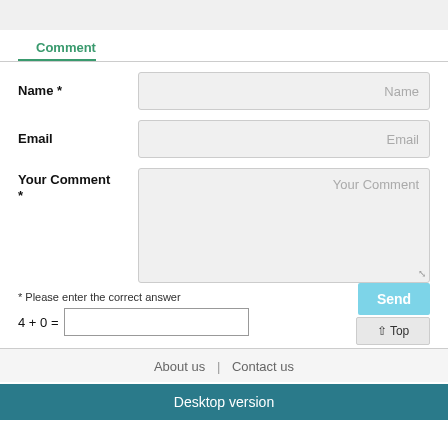Comment
Name *
Email
Your Comment *
* Please enter the correct answer
4 + 0 =
Send
⌃ Top
About us | Contact us
Desktop version